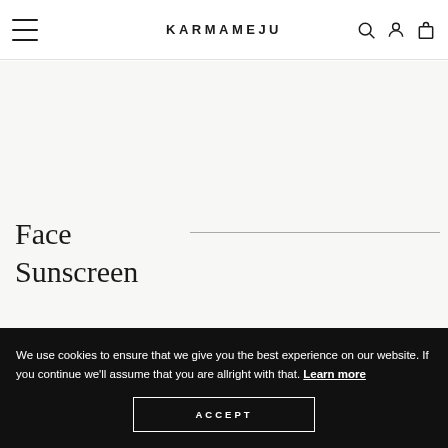KARMAMEJU
Face Sunscreen
We use cookies to ensure that we give you the best experience on our website. If you continue we'll assume that you are allright with that. Learn more
ACCEPT